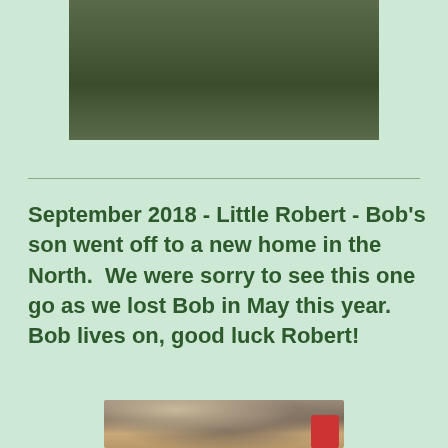[Figure (photo): Top portion of a photo showing a grassy/muddy outdoor field, cropped at the top of the page]
September 2018 - Little Robert - Bob's son went off to a new home in the North.  We were sorry to see this one go as we lost Bob in May this year. Bob lives on, good luck Robert!
[Figure (photo): Photo of farm animals (likely sheep or goats) in a pen with hay on the ground and a red bucket visible]